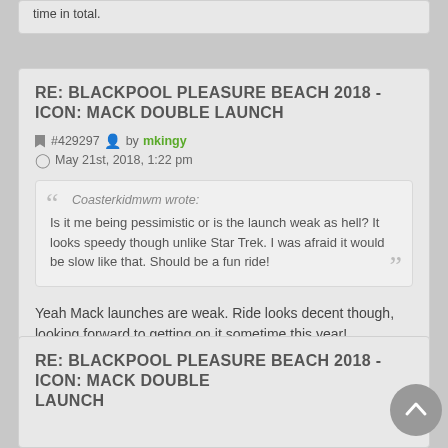time in total.
RE: BLACKPOOL PLEASURE BEACH 2018 - ICON: MACK DOUBLE LAUNCH
#429297 by mkingy
May 21st, 2018, 1:22 pm
Coasterkidmwm wrote: Is it me being pessimistic or is the launch weak as hell? It looks speedy though unlike Star Trek. I was afraid it would be slow like that. Should be a fun ride!
Yeah Mack launches are weak. Ride looks decent though, looking forward to getting on it sometime this year!
RE: BLACKPOOL PLEASURE BEACH 2018 - ICON: MACK DOUBLE LAUNCH